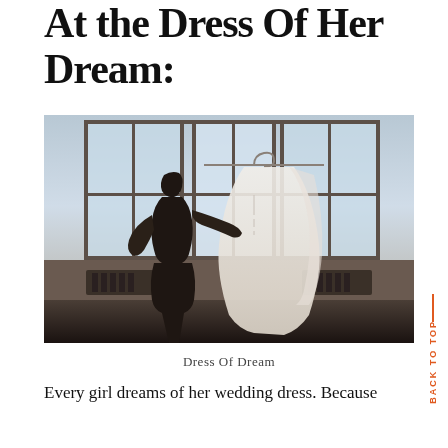At the Dress Of Her Dream:
[Figure (photo): A woman in a white robe reaching toward a wedding dress on a hanger, silhouetted against large windows in a dimly lit room]
Dress Of Dream
Every girl dreams of her wedding dress. Because